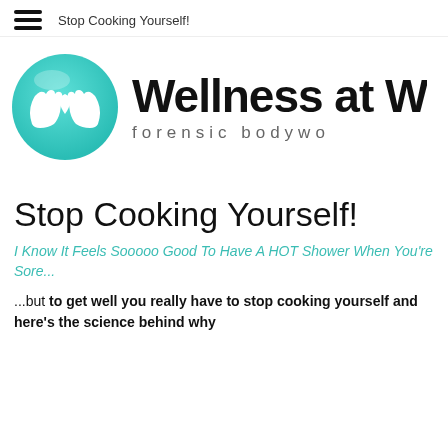Stop Cooking Yourself!
[Figure (logo): Wellness at W logo — teal circle with white cupped hands, bold text 'Wellness at W' and 'forensic bodywo' subtitle (cropped)]
Stop Cooking Yourself!
I Know It Feels Sooooo Good To Have A HOT Shower When You're Sore...
...but to get well you really have to stop cooking yourself and here's the science behind why